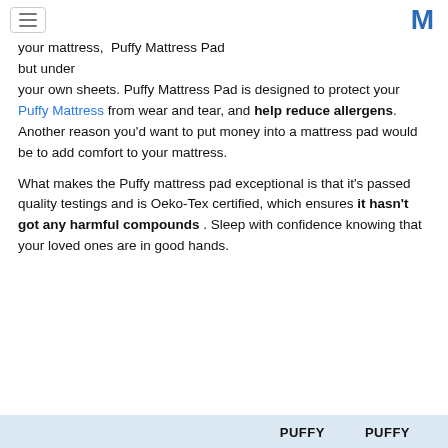[hamburger menu] [M logo]
your mattress,  Puffy Mattress Pad but under your own sheets. Puffy Mattress Pad is designed to protect your Puffy Mattress from wear and tear, and help reduce allergens. Another reason you'd want to put money into a mattress pad would be to add comfort to your mattress.
What makes the Puffy mattress pad exceptional is that it's passed quality testings and is Oeko-Tex certified, which ensures it hasn't got any harmful compounds . Sleep with confidence knowing that your loved ones are in good hands.
| PUFFY | PUFFY |
| --- | --- |